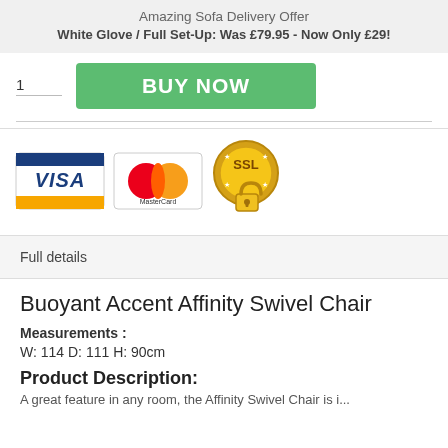Amazing Sofa Delivery Offer
White Glove / Full Set-Up: Was £79.95 - Now Only £29!
[Figure (screenshot): Quantity input field showing '1' and a green BUY NOW button]
[Figure (infographic): Payment trust icons: VISA card, MasterCard, and SSL padlock badge]
Full details
Buoyant Accent Affinity Swivel Chair
Measurements :
W: 114 D: 111 H: 90cm
Product Description:
A great feature in any room, the Affinity Swivel Chair is...